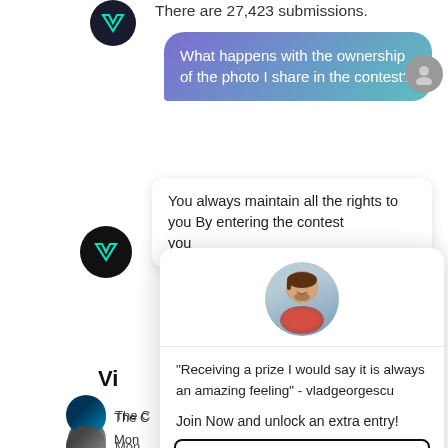There are 27,423 submissions.
[Figure (screenshot): Chat interface showing a gradient message bubble with user question about photo ownership in a contest, a white reply bubble about maintaining rights, a modal overlay card with a user photo, a testimonial quote from vladgeorgescu, a Join Now call to action, and an Enter Today For FREE button. Left sidebar shows a V logo, contest thumbnails and partial labels.]
What happens with the ownership of the photo I share in the contest?
You always maintain all the rights to you... By entering the contest you...
"Receiving a prize I would say it is always an amazing feeling" - vladgeorgescu
Join Now and unlock an extra entry!
Enter Today For FREE